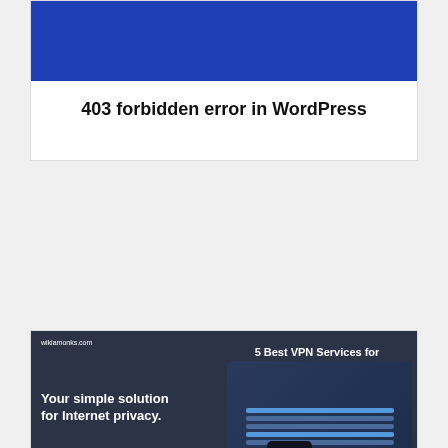[Figure (screenshot): Blue banner image for a WordPress article about 403 forbidden error]
403 forbidden error in WordPress
[Figure (screenshot): Banner image for '5 Best VPN Services for WordPress Users' from wikiamonks.com showing VPN software on multiple devices with text: Your simple solution for Internet privacy. Lightning-fast speeds. Maximum security. Zero logs.]
5 Best VPN Services for WordPress Users